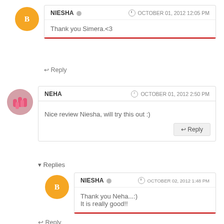NIESHA  OCTOBER 01, 2012 12:05 PM
Thank you Simera.<3
↩ Reply
NEHA  OCTOBER 01, 2012 2:50 PM
Nice review Niesha, will try this out :)
↩ Reply
▾ Replies
NIESHA  OCTOBER 02, 2012 1:48 PM
Thank you Neha..:)
It is really good!!
↩ Reply